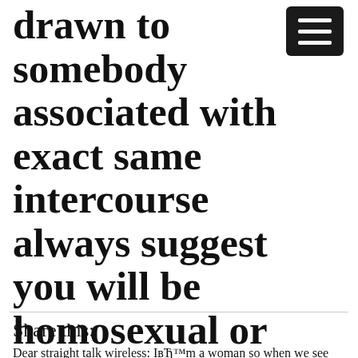drawn to somebody associated with exact same intercourse always suggest you will be homosexual or bisexual?
Share this:
Dear straight talk wireless: IвЂ™m a woman so when we see other girls with appealing systems nude, we often feel an attraction that is physical. This can include my stepsister with who we often share a space. She undresses right in front of